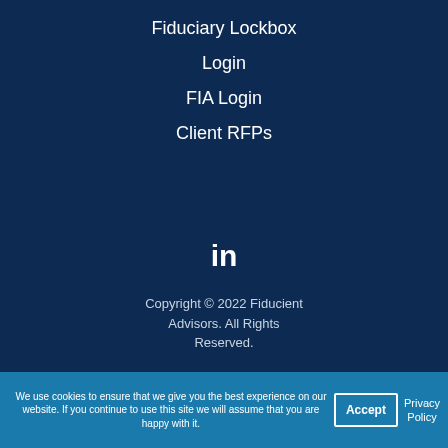Fiduciary Lockbox
Login
FIA Login
Client RFPs
[Figure (logo): LinkedIn icon (in) in white]
Copyright © 2022 Fiducient Advisors. All Rights Reserved.
We use cookies to ensure that we give you the best experience on our website. If you continue to use this site we will assume that you are happy with it.
Accept
Privacy Policy